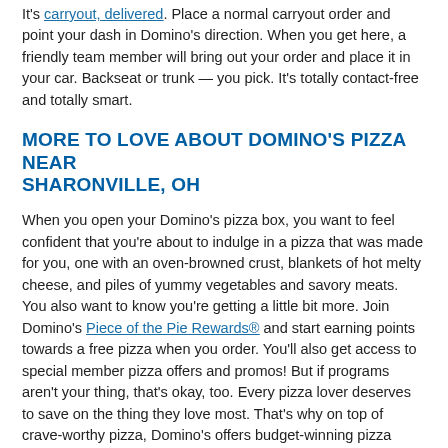It's carryout, delivered. Place a normal carryout order and point your dash in Domino's direction. When you get here, a friendly team member will bring out your order and place it in your car. Backseat or trunk — you pick. It's totally contact-free and totally smart.
MORE TO LOVE ABOUT DOMINO'S PIZZA NEAR SHARONVILLE, OH
When you open your Domino's pizza box, you want to feel confident that you're about to indulge in a pizza that was made for you, one with an oven-browned crust, blankets of hot melty cheese, and piles of yummy vegetables and savory meats. You also want to know you're getting a little bit more. Join Domino's Piece of the Pie Rewards® and start earning points towards a free pizza when you order. You'll also get access to special member pizza offers and promos! But if programs aren't your thing, that's okay, too. Every pizza lover deserves to save on the thing they love most. That's why on top of crave-worthy pizza, Domino's offers budget-winning pizza coupons near Sharonville. Find a Domino's pizza place near Sharonville to access the most